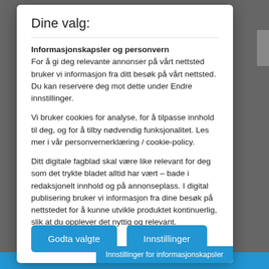Dine valg:
Informasjonskapsler og personvern
For å gi deg relevante annonser på vårt nettsted bruker vi informasjon fra ditt besøk på vårt nettsted. Du kan reservere deg mot dette under Endre innstillinger.
Vi bruker cookies for analyse, for å tilpasse innhold til deg, og for å tilby nødvendig funksjonalitet. Les mer i vår personvernerklæring / cookie-policy.
Ditt digitale fagblad skal være like relevant for deg som det trykte bladet alltid har vært – bade i redaksjonelt innhold og på annonseplass. I digital publisering bruker vi informasjon fra dine besøk på nettstedet for å kunne utvikle produktet kontinuerlig, slik at du opplever det nyttig og relevant.
Godta valgte | Innstillinger
Innstillinger for informasjonskapsler